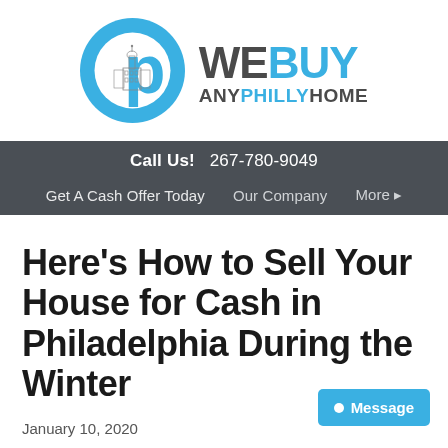[Figure (logo): We Buy Any Philly Home logo — blue circle with Philadelphia City Hall illustration and letter P, beside bold text WEBUY ANYPHILLYHOME]
Call Us!  267-780-9049
Get A Cash Offer Today   Our Company   More ▸
Here's How to Sell Your House for Cash in Philadelphia During the Winter
January 10, 2020